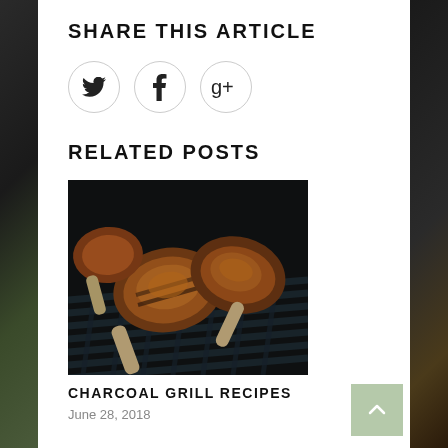SHARE THIS ARTICLE
[Figure (infographic): Social share icons: Twitter bird icon, Facebook 'f' icon, and Google Plus 'g+' icon, each in a light circular border]
RELATED POSTS
[Figure (photo): Photo of chicken pieces and drumsticks grilling on a charcoal grill with dark grill grates]
CHARCOAL GRILL RECIPES
June 28, 2018